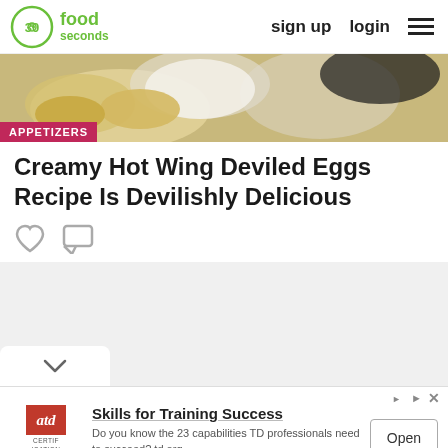30 seconds food | sign up | login
[Figure (photo): Close-up photo of deviled eggs appetizer with a bowl of dip in the background]
APPETIZERS
Creamy Hot Wing Deviled Eggs Recipe Is Devilishly Delicious
[Figure (other): Heart icon and comment bubble icon]
[Figure (other): Gray content/ad area with chevron tab]
[Figure (other): ATD Certification Institute advertisement. Skills for Training Success. Do you know the 23 capabilities TD professionals need to succeed? td.org. Open button.]